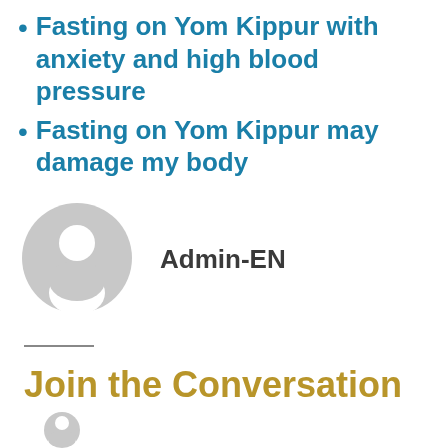Fasting on Yom Kippur with anxiety and high blood pressure
Fasting on Yom Kippur may damage my body
[Figure (illustration): Generic user avatar icon, grey circle with white silhouette of a person]
Admin-EN
Join the Conversation